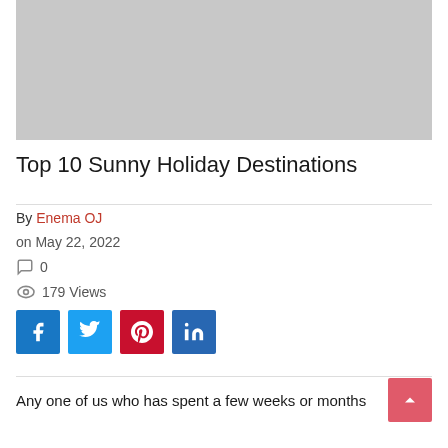[Figure (photo): Hero image placeholder — light gray rectangle at top of article]
Top 10 Sunny Holiday Destinations
By Enema OJ
on May 22, 2022
0
179 Views
Any one of us who has spent a few weeks or months